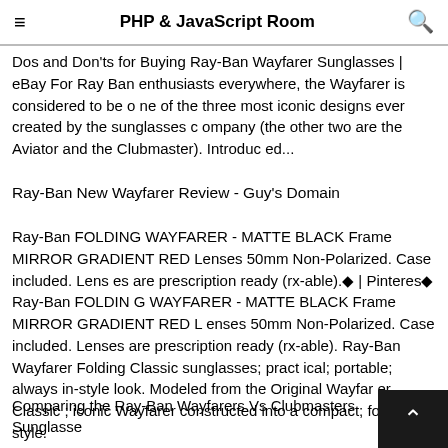PHP & JavaScript Room
Dos and Don'ts for Buying Ray-Ban Wayfarer Sunglasses | eBay For Ray Ban enthusiasts everywhere, the Wayfarer is considered to be one of the three most iconic designs ever created by the sunglasses company (the other two are the Aviator and the Clubmaster). Introduced...
Ray-Ban New Wayfarer Review - Guy's Domain
Ray-Ban FOLDING WAYFARER - MATTE BLACK Frame MIRROR GRADIENT RED Lenses 50mm Non-Polarized. Case included. Lenses are prescription ready (rx-able).◆ | Pinteres◆ Ray-Ban FOLDING WAYFARER - MATTE BLACK Frame MIRROR GRADIENT RED Lenses 50mm Non-Polarized. Case included. Lenses are prescription ready (rx-able). Ray-Ban Wayfarer Folding Classic sunglasses; practical; portable; always in-style look. Modeled from the Original Wayfarer Classic ; iconic Wayfarer constructed into a compact; folding style.
Comparing the Ray-Ban Wayfarers Vs Clubmasters Sunglasse